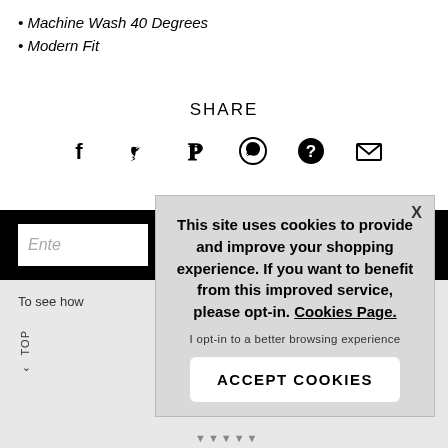Machine Wash 40 Degrees
Modern Fit
SHARE
[Figure (other): Social sharing icons: Facebook, Twitter, Pinterest, WhatsApp, Question mark, Email]
Ente
To see how
TOP
This site uses cookies to provide and improve your shopping experience. If you want to benefit from this improved service, please opt-in. Cookies Page.
I opt-in to a better browsing experience
ACCEPT COOKIES